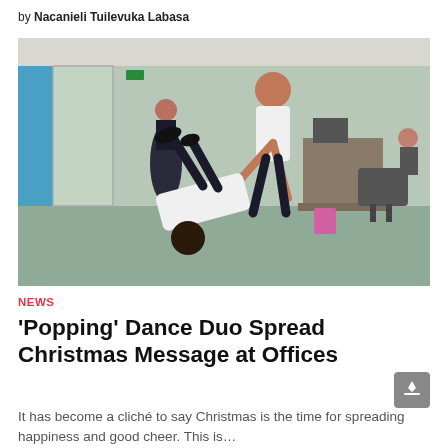by Nacanieli Tuilevuka Labasa
[Figure (photo): Two people performing a 'popping' dance move in an office environment. One person is leaning backward toward the floor while another person holds them, both wearing white t-shirts. A woman in black stands watching in the background near glass doors.]
NEWS
'Popping' Dance Duo Spread Christmas Message at Offices
It has become a cliché to say Christmas is the time for spreading happiness and good cheer. This is…